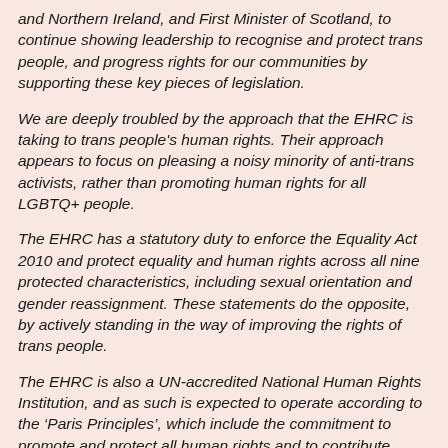and Northern Ireland, and First Minister of Scotland, to continue showing leadership to recognise and protect trans people, and progress rights for our communities by supporting these key pieces of legislation.
We are deeply troubled by the approach that the EHRC is taking to trans people's human rights. Their approach appears to focus on pleasing a noisy minority of anti-trans activists, rather than promoting human rights for all LGBTQ+ people.
The EHRC has a statutory duty to enforce the Equality Act 2010 and protect equality and human rights across all nine protected characteristics, including sexual orientation and gender reassignment. These statements do the opposite, by actively standing in the way of improving the rights of trans people.
The EHRC is also a UN-accredited National Human Rights Institution, and as such is expected to operate according to the ‘Paris Principles’, which include the commitment to promote and protect all human rights and to contribute towards a world where